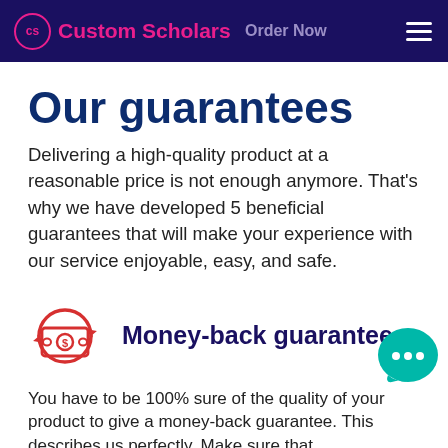Custom Scholars — Order Now
Our guarantees
Delivering a high-quality product at a reasonable price is not enough anymore. That's why we have developed 5 beneficial guarantees that will make your experience with our service enjoyable, easy, and safe.
[Figure (illustration): Money-back guarantee icon: circular arrows around a cash/money bill icon in red outline]
Money-back guarantee
You have to be 100% sure of the quality of your product to give a money-back guarantee. This describes us perfectly. Make sure that...